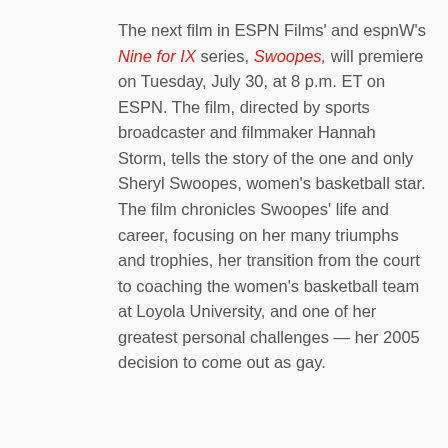The next film in ESPN Films' and espnW's Nine for IX series, Swoopes, will premiere on Tuesday, July 30, at 8 p.m. ET on ESPN. The film, directed by sports broadcaster and filmmaker Hannah Storm, tells the story of the one and only Sheryl Swoopes, women's basketball star. The film chronicles Swoopes' life and career, focusing on her many triumphs and trophies, her transition from the court to coaching the women's basketball team at Loyola University, and one of her greatest personal challenges — her 2005 decision to come out as gay.